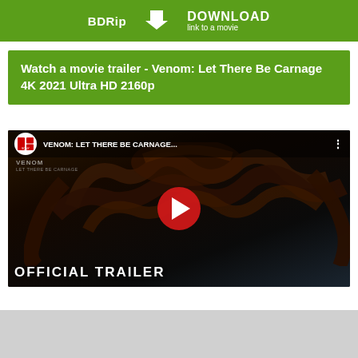[Figure (screenshot): Green banner with BDRip text on left, download arrow icon in center, and DOWNLOAD link to a movie text on right]
Watch a movie trailer - Venom: Let There Be Carnage 4K 2021 Ultra HD 2160p
[Figure (screenshot): YouTube video thumbnail for Venom: Let There Be Carnage official trailer, showing Carnage creature with tentacles, Sony Pictures logo, red play button in center, and 'OFFICIAL TRAILER' text at bottom]